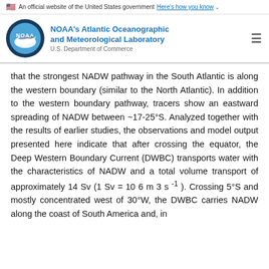An official website of the United States government Here's how you know
[Figure (logo): NOAA logo - circular blue emblem with NOAA text and fish/wave design]
NOAA's Atlantic Oceanographic and Meteorological Laboratory U.S. Department of Commerce
that the strongest NADW pathway in the South Atlantic is along the western boundary (similar to the North Atlantic). In addition to the western boundary pathway, tracers show an eastward spreading of NADW between ~17-25°S. Analyzed together with the results of earlier studies, the observations and model output presented here indicate that after crossing the equator, the Deep Western Boundary Current (DWBC) transports water with the characteristics of NADW and a total volume transport of approximately 14 Sv (1 Sv = 10 6 m 3 s -1 ). Crossing 5°S and mostly concentrated west of 30°W, the DWBC carries NADW along the coast of South America and, in